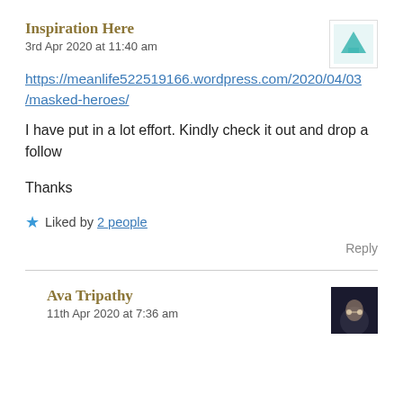Inspiration Here
3rd Apr 2020 at 11:40 am
https://meanlife522519166.wordpress.com/2020/04/03/masked-heroes/
I have put in a lot effort. Kindly check it out and drop a follow
Thanks
Liked by 2 people
Reply
Ava Tripathy
11th Apr 2020 at 7:36 am